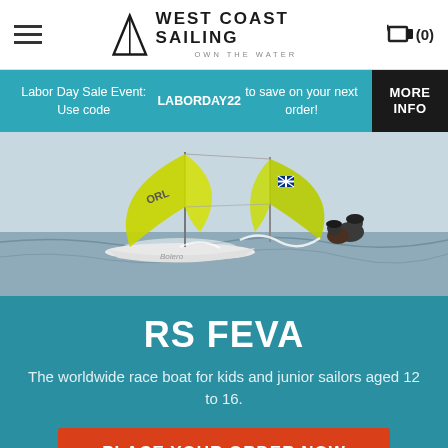West Coast Sailing — Own The Water — navigation bar with hamburger menu and cart (0)
Labor Day Sale Event: Use code LABORDAY22 to save on your next order! MORE INFO
[Figure (photo): Two sailors racing in an RS Feva sailboat with yellow-green spinnaker sails on the water]
RS FEVA
The worldwide race boat for kids and junior sailors aged 12 to 16.
PLACE YOUR ORDER NOW